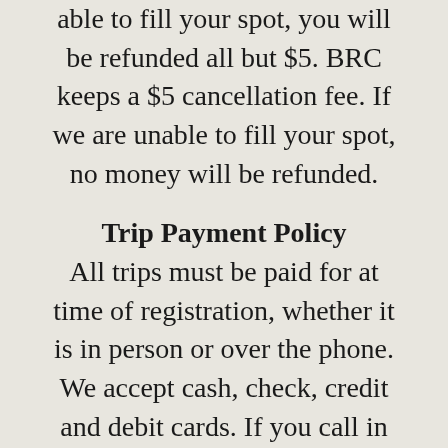able to fill your spot, you will be refunded all but $5. BRC keeps a $5 cancellation fee. If we are unable to fill your spot, no money will be refunded.
Trip Payment Policy
All trips must be paid for at time of registration, whether it is in person or over the phone. We accept cash, check, credit and debit cards. If you call in and register by phone, please have your credit card or debit card ready. Also, due to a system upgrade, we require the 3 digit code on the back of